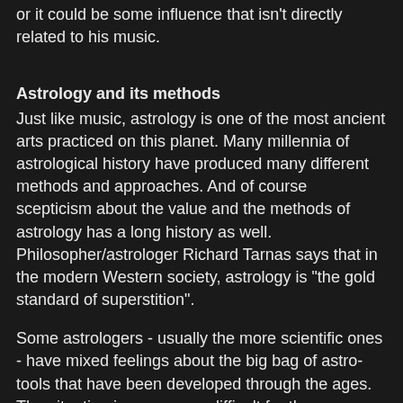or it could be some influence that isn't directly related to his music.
Astrology and its methods
Just like music, astrology is one of the most ancient arts practiced on this planet. Many millennia of astrological history have produced many different methods and approaches. And of course scepticism about the value and the methods of astrology has a long history as well. Philosopher/astrologer Richard Tarnas says that in the modern Western society, astrology is "the gold standard of superstition".
Some astrologers - usually the more scientific ones - have mixed feelings about the big bag of astro-tools that have been developed through the ages. The situation is even more difficult for the new digital generation, who have easy access to lots of old and brand new theories, classic methods, esoteric ideas from ancient times and distant cultures and so on. This abundance, but especially the lack of holistic integration, can be confusing.